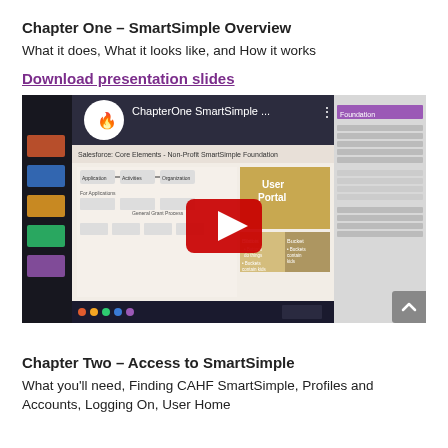Chapter One – SmartSimple Overview
What it does, What it looks like, and How it works
Download presentation slides
[Figure (screenshot): YouTube video embed thumbnail showing a SmartSimple overview presentation slide with a play button, YouTube logo circle, video title 'ChapterOne SmartSimple …', and presentation slide content visible in background.]
Chapter Two – Access to SmartSimple
What you'll need, Finding CAHF SmartSimple, Profiles and Accounts, Logging On, User Home